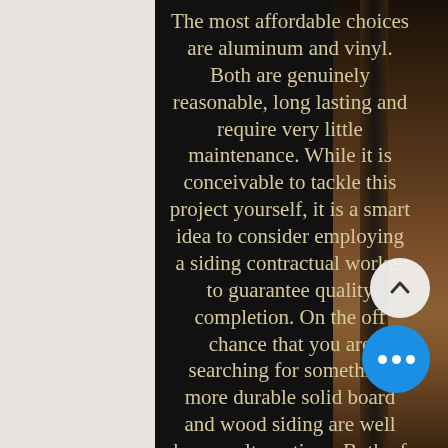The most affordable choices are aluminum and vinyl. Both are genuinely reasonable, long lasting and require very little maintenance. While it is conceivable to tackle this project yourself, it is a smart idea to consider employing a siding contractual worker to guarantee quality completion. On the off chance that you are searching for something more durable solid board and wood siding are well known alternatives. Both of these sidings can be painted and a stronger appearance than vinyl or aluminum siding. Brick and stone are the most expensive items. This is mainly because they require proficient bricklayers to do the work.
[Figure (photo): Background photo of wooden fence posts/pillars in a dark outdoor setting with dirt/ground visible, overlaid with cream-colored text. UI buttons visible: a white circular up-arrow button and a blue circular three-dots button.]